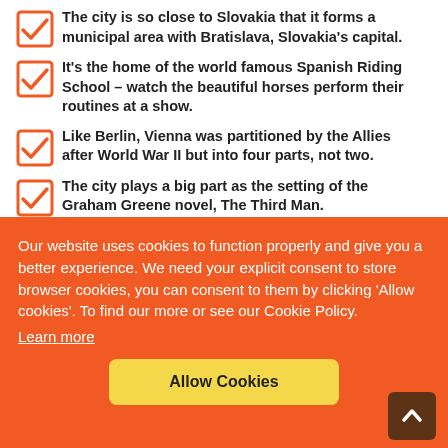The city is so close to Slovakia that it forms a municipal area with Bratislava, Slovakia's capital.
It's the home of the world famous Spanish Riding School – watch the beautiful horses perform their routines at a show.
Like Berlin, Vienna was partitioned by the Allies after World War II but into four parts, not two.
The city plays a big part as the setting of the Graham Greene novel, The Third Man.
It's the last place in Europe for the system of grand orchestras
Our website uses cookies to function properly and give you a better experience. We need your explicit consent to store browser cookies, you can consent to them by clicking 'Allow cookies'. To find our more or see our Cookie Policy.
Learn more
Allow Cookies